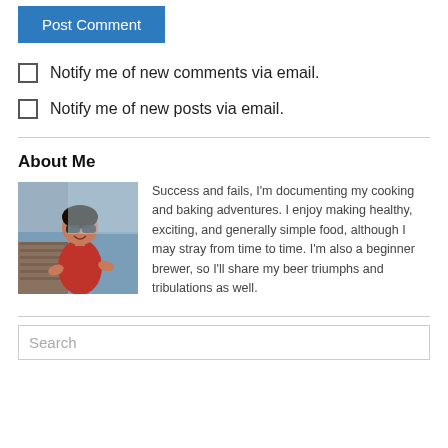Post Comment
Notify me of new comments via email.
Notify me of new posts via email.
About Me
[Figure (photo): Woman in red dress sitting on a dock near water, wearing sunglasses, smiling]
Success and fails, I'm documenting my cooking and baking adventures. I enjoy making healthy, exciting, and generally simple food, although I may stray from time to time. I'm also a beginner brewer, so I'll share my beer triumphs and tribulations as well.
Search